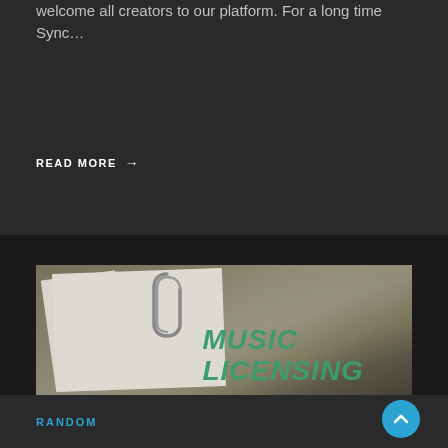welcome all creators to our platform. For a long time Sync…
READ MORE →
[Figure (photo): Photo of documents clipped together with a paperclip, top document reads 'MUSIC LICENSING' in large green italic text]
RANDOM